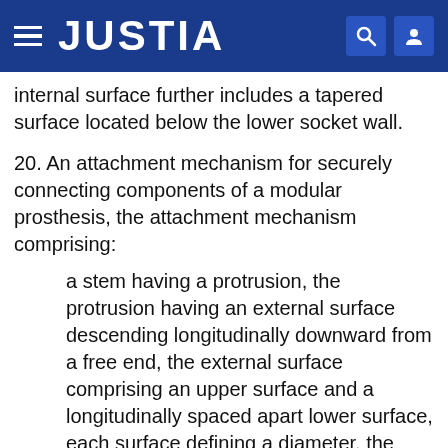JUSTIA
internal surface further includes a tapered surface located below the lower socket wall.
20. An attachment mechanism for securely connecting components of a modular prosthesis, the attachment mechanism comprising:
a stem having a protrusion, the protrusion having an external surface descending longitudinally downward from a free end, the external surface comprising an upper surface and a longitudinally spaced apart lower surface, each surface defining a diameter, the upper surface diameter being substantially the same as the lower surface diameter; and
a body having an internal surface bounding a bore, the internal surface comprising an upper socket wall and a longitudinally spaced apart lower socket